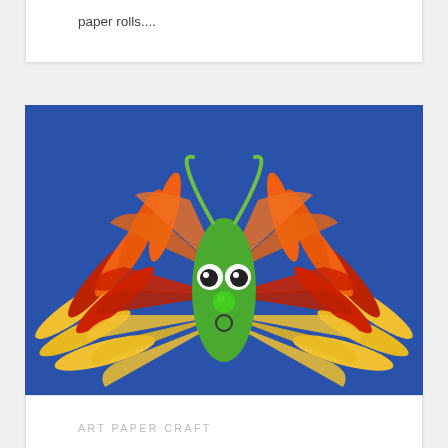paper rolls....
[Figure (photo): A handprint butterfly craft made from colorful paper handprints (orange, red, yellow) arranged as wings around a green paper body with googly eyes, a green pom-pom nose, and green pipe cleaner antennae, on a blue background.]
ART PAPER CRAFT